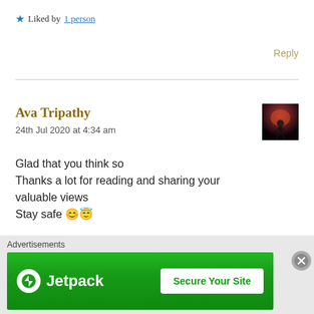★ Liked by 1 person
Reply
Ava Tripathy
24th Jul 2020 at 4:34 am
[Figure (photo): Small avatar thumbnail showing a silhouette figure against a red/dark sky]
Glad that you think so
Thanks a lot for reading and sharing your valuable views
Stay safe 😊😇
★ Liked by 1 person
[Figure (infographic): Jetpack advertisement banner: green background with Jetpack logo and 'Secure Your Site' button]